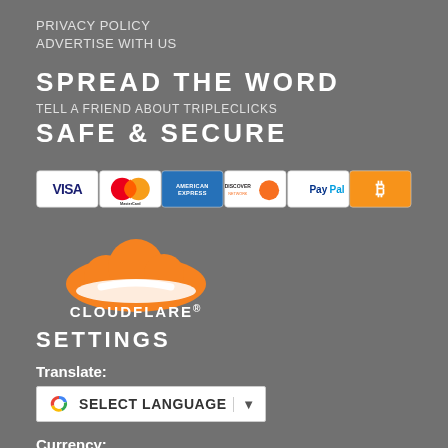PRIVACY POLICY
ADVERTISE WITH US
SPREAD THE WORD
TELL A FRIEND ABOUT TRIPLECLICKS
SAFE & SECURE
[Figure (logo): Payment method icons: VISA, MasterCard, American Express, Discover Network, PayPal, Bitcoin]
[Figure (logo): Cloudflare logo with orange cloud icon and CLOUDFLARE wordmark]
SETTINGS
Translate:
[Figure (screenshot): Google Translate language selector widget with SELECT LANGUAGE dropdown]
Currency:
[Figure (screenshot): Currency selector dropdown showing Argentine Peso]